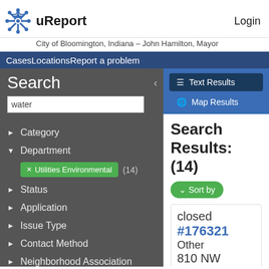uReport
Login
City of Bloomington, Indiana – John Hamilton, Mayor
CasesLocationsReport a problem
Search
water
Category
Department
Utilities Environmental (14)
Status
Application
Issue Type
Contact Method
Neighborhood Association
Text Results
Map Results
Search Results: (14)
Sort by
closed
#176321
Other
810 NW